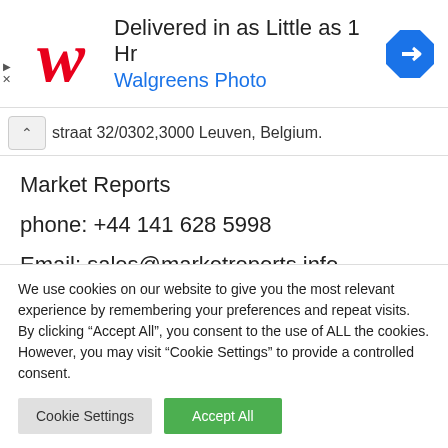[Figure (screenshot): Walgreens Photo advertisement banner: logo on left, text 'Delivered in as Little as 1 Hr' and 'Walgreens Photo' in blue, navigation icon on right]
straat 32/0302,3000 Leuven, Belgium.
Market Reports
phone: +44 141 628 5998
Email: sales@marketreports.info
We use cookies on our website to give you the most relevant experience by remembering your preferences and repeat visits. By clicking "Accept All", you consent to the use of ALL the cookies. However, you may visit "Cookie Settings" to provide a controlled consent.